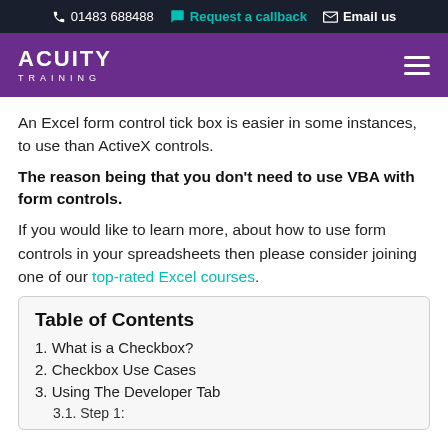01483 688488  Request a callback  Email us
[Figure (logo): Acuity Training logo with hamburger menu on purple nav bar]
An Excel form control tick box is easier in some instances, to use than ActiveX controls.
The reason being that you don't need to use VBA with form controls.
If you would like to learn more, about how to use form controls in your spreadsheets then please consider joining one of our top-rated Excel courses.
Table of Contents
1. What is a Checkbox?
2. Checkbox Use Cases
3. Using The Developer Tab
3.1. Step 1: